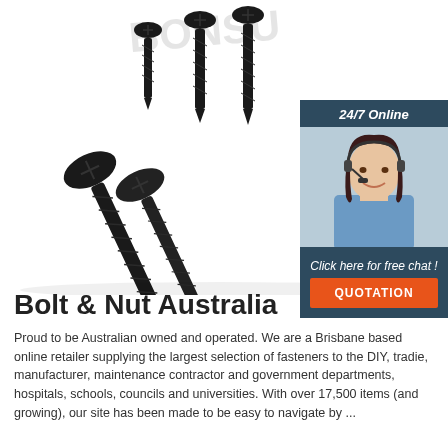[Figure (photo): Black drywall/wood screws of various sizes arranged diagonally on a white background, with a faint watermark text 'BONSU' at the top.]
[Figure (infographic): Customer service chat widget with dark teal background. Shows '24/7 Online' header, photo of a smiling woman with headset, 'Click here for free chat!' text, and an orange 'QUOTATION' button.]
Bolt & Nut Australia
Proud to be Australian owned and operated. We are a Brisbane based online retailer supplying the largest selection of fasteners to the DIY, tradie, manufacturer, maintenance contractor and government departments, hospitals, schools, councils and universities. With over 17,500 items (and growing), our site has been made to be easy to navigate by ...